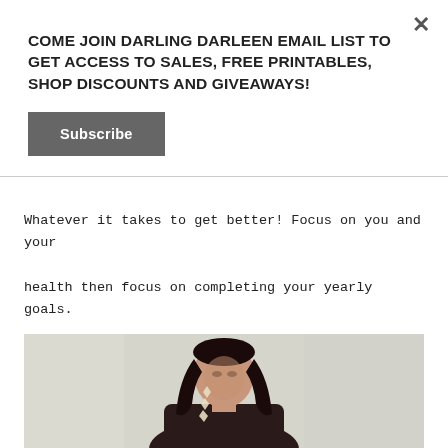COME JOIN DARLING DARLEEN EMAIL LIST TO GET ACCESS TO SALES, FREE PRINTABLES, SHOP DISCOUNTS AND GIVEAWAYS!
Subscribe
Whatever it takes to get better! Focus on you and your health then focus on completing your yearly goals. That should be your first priority always.
[Figure (photo): A woman with long dark hair wearing dark top and large geometric earrings, looking downward against a light patterned wallpaper background.]